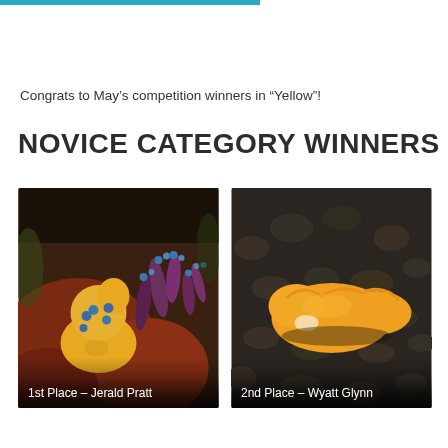Congrats to May’s competition winners in “Yellow”!
NOVICE CATEGORY WINNERS
[Figure (photo): Underwater photo of a yellow nudibranch sea slug on a colorful reef with blue-spotted purple anemones, labeled 1st Place – Jerald Pratt]
[Figure (photo): Underwater photo of a bright orange-yellow nudibranch sea slug on dark sandy substrate, labeled 2nd Place – Wyatt Glynn]